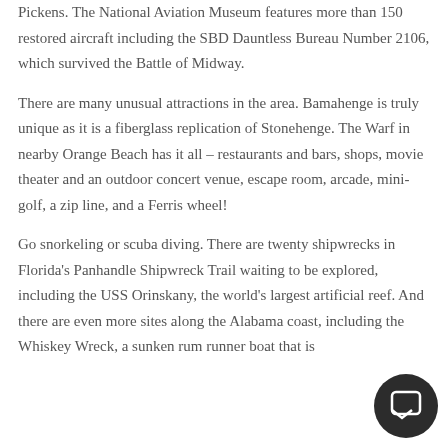Pickens. The National Aviation Museum features more than 150 restored aircraft including the SBD Dauntless Bureau Number 2106, which survived the Battle of Midway.
There are many unusual attractions in the area. Bamahenge is truly unique as it is a fiberglass replication of Stonehenge. The Warf in nearby Orange Beach has it all – restaurants and bars, shops, movie theater and an outdoor concert venue, escape room, arcade, mini-golf, a zip line, and a Ferris wheel!
Go snorkeling or scuba diving. There are twenty shipwrecks in Florida's Panhandle Shipwreck Trail waiting to be explored, including the USS Orinskany, the world's largest artificial reef. And there are even more sites along the Alabama coast, including the Whiskey Wreck, a sunken rum runner boat that is